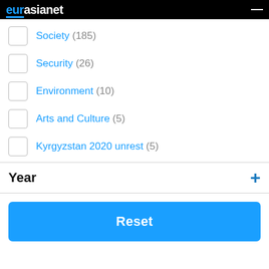eurasianet
Society (185)
Security (26)
Environment (10)
Arts and Culture (5)
Kyrgyzstan 2020 unrest (5)
Year
Reset